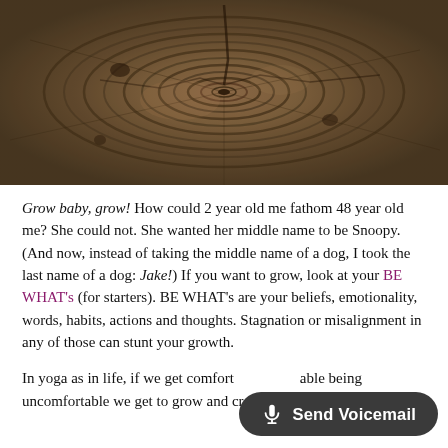[Figure (photo): Close-up cross-section of a tree trunk showing growth rings and wood grain texture in brown and grey tones]
Grow baby, grow! How could 2 year old me fathom 48 year old me? She could not. She wanted her middle name to be Snoopy. (And now, instead of taking the middle name of a dog, I took the last name of a dog: Jake!) If you want to grow, look at your BE WHAT's (for starters). BE WHAT's are your beliefs, emotionality, words, habits, actions and thoughts. Stagnation or misalignment in any of those can stunt your growth.
In yoga as in life, if we get comfortable being uncomfortable we get to grow and create in amazing